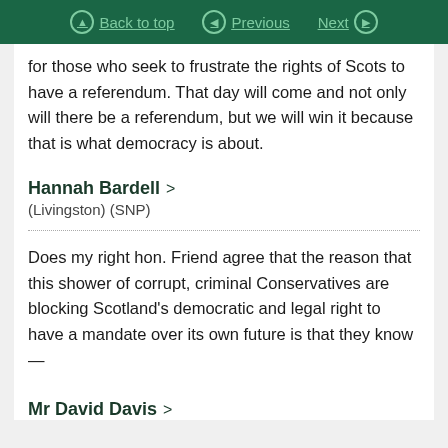Back to top | Previous | Next
for those who seek to frustrate the rights of Scots to have a referendum. That day will come and not only will there be a referendum, but we will win it because that is what democracy is about.
Hannah Bardell > (Livingston) (SNP)
Does my right hon. Friend agree that the reason that this shower of corrupt, criminal Conservatives are blocking Scotland's democratic and legal right to have a mandate over its own future is that they know—
Mr David Davis >